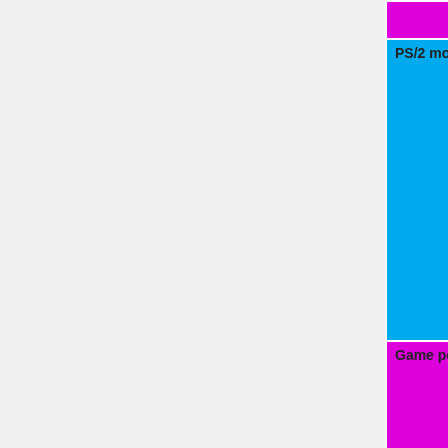| Feature | Status |
| --- | --- |
|  | yellow }}" | W... |
| PS/2 mouse | OK=lime | TODO=red | No=red | WIP=orange | Untested=yellow | N/A=lightgray yellow }}" | Untested |
| Game port | OK=lime | TODO=red | No=red | WIP=orange | Untested=yellow | N/A=lightgray yellow }}" | N/A |
| Infrared | OK=lime | TODO=red | |